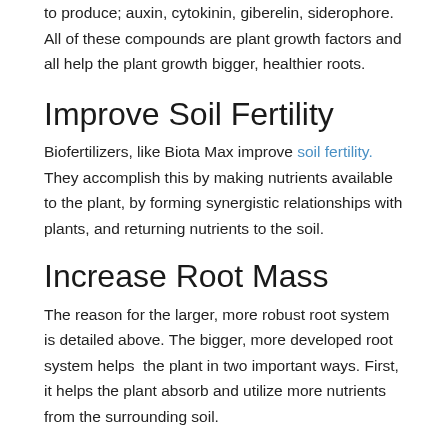to produce; auxin, cytokinin, giberelin, siderophore. All of these compounds are plant growth factors and all help the plant growth bigger, healthier roots.
Improve Soil Fertility
Biofertilizers, like Biota Max improve soil fertility. They accomplish this by making nutrients available to the plant, by forming synergistic relationships with plants, and returning nutrients to the soil.
Increase Root Mass
The reason for the larger, more robust root system is detailed above. The bigger, more developed root system helps  the plant in two important ways. First, it helps the plant absorb and utilize more nutrients from the surrounding soil.
Secondly, and largely overlooked, the increased root system